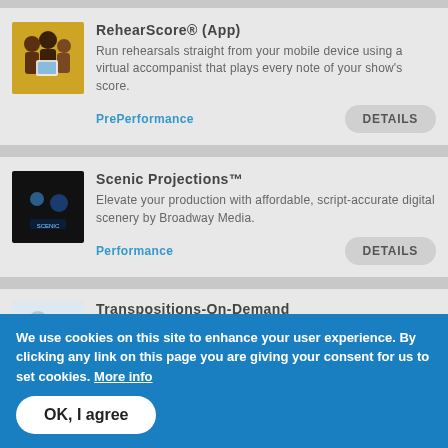[Figure (photo): Group of people holding a tablet/mobile device, warm yellow background]
RehearScore® (App)
Run rehearsals straight from your mobile device using a virtual accompanist that plays every note of your show's score.
PrePerformance
DETAILS
[Figure (photo): Dark theatrical scene with colorful projection lighting]
Scenic Projections™
Elevate your production with affordable, script-accurate digital scenery by Broadway Media.
Performance
DETAILS
[Figure (photo): Two people looking at a computer screen]
Transpositions-On-Demand
Change the key of any song and optimize your
We use cookies on this site to enhance your user experience. By clicking any link on this page you are giving your consent for us to set cookies. More info
OK, I agree